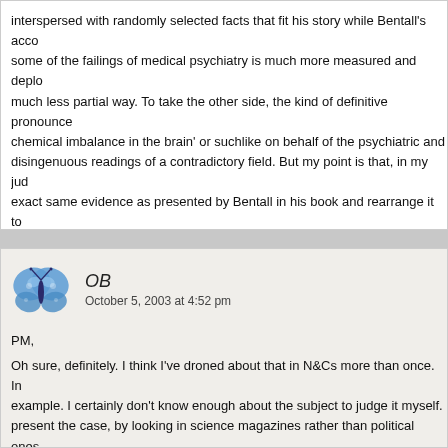interspersed with randomly selected facts that fit his story while Bentall's account of some of the failings of medical psychiatry is much more measured and deployed in a much less partial way. To take the other side, the kind of definitive pronouncements 'chemical imbalance in the brain' or suchlike on behalf of the psychiatric and disingenuous readings of a contradictory field. But my point is that, in my judgment, the exact same evidence as presented by Bentall in his book and rearrange it to point in the opposite direction – in fact there is one point where he uses almost identical theories and to accept another set. It seems that when arguments are this nuanced support of your thesis becomes just another sort of rhetoric.
OB
October 5, 2003 at 4:52 pm
PM,
Oh sure, definitely. I think I've droned about that in N&Cs more than once. In example. I certainly don't know enough about the subject to judge it myself. present the case, by looking in science magazines rather than political ones. Scientists themselves (as they will freely tell you) have to rely on authority outside goes.
Which of course is not to say that anything goes. Just that it's all very difficult, it's at the bottom of a well, as Xenophanes or some such fella said.